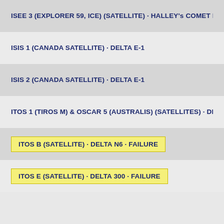ISEE 3 (EXPLORER 59, ICE) (SATELLITE) · HALLEY's COMET FLY-
ISIS 1 (CANADA SATELLITE) · DELTA E-1
ISIS 2 (CANADA SATELLITE) · DELTA E-1
ITOS 1 (TIROS M) & OSCAR 5 (AUSTRALIS) (SATELLITES) · DELT
ITOS B (SATELLITE) · DELTA N6 · FAILURE
ITOS E (SATELLITE) · DELTA 300 · FAILURE